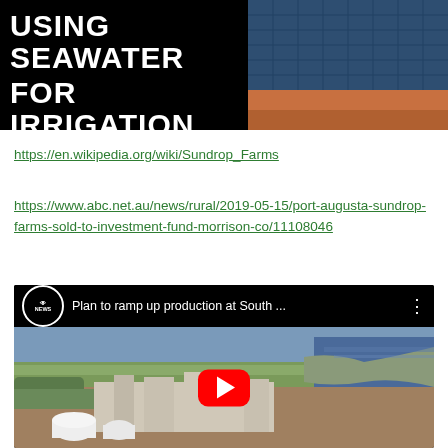[Figure (screenshot): Banner image with black background showing bold white text 'USING SEAWATER FOR IRRIGATION' overlaid on an aerial photo of solar panels on red/orange earth]
https://en.wikipedia.org/wiki/Sundrop_Farms
https://www.abc.net.au/news/rural/2019-05-15/port-augusta-sundrop-farms-sold-to-investment-fund-morrison-co/11108046
[Figure (screenshot): YouTube video embed thumbnail showing aerial view of coastal industrial facility with ABC News branding and title 'Plan to ramp up production at South ...' with red play button overlay]